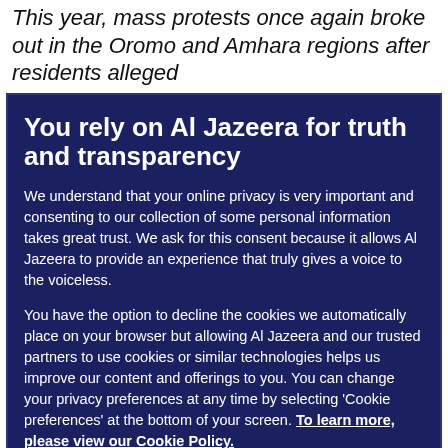This year, mass protests once again broke out in the Oromo and Amhara regions after residents alleged
You rely on Al Jazeera for truth and transparency
We understand that your online privacy is very important and consenting to our collection of some personal information takes great trust. We ask for this consent because it allows Al Jazeera to provide an experience that truly gives a voice to the voiceless.
You have the option to decline the cookies we automatically place on your browser but allowing Al Jazeera and our trusted partners to use cookies or similar technologies helps us improve our content and offerings to you. You can change your privacy preferences at any time by selecting 'Cookie preferences' at the bottom of your screen. To learn more, please view our Cookie Policy.